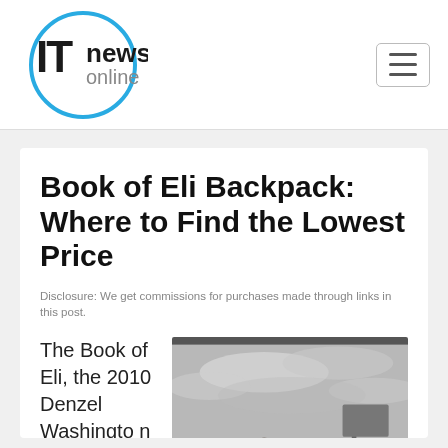IT News Online
Book of Eli Backpack: Where to Find the Lowest Price
Disclosure: We get commissions for purchases made through links in this post.
The Book of Eli, the 2010 Denzel Washington vehicle
[Figure (photo): Black and white photo of a man wearing sunglasses and a backpack, looking up at a cloudy sky in a post-apocalyptic desert landscape with a road sign visible in the background.]